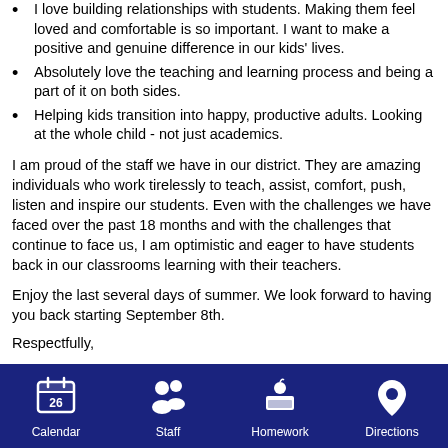I love building relationships with students. Making them feel loved and comfortable is so important. I want to make a positive and genuine difference in our kids' lives.
Absolutely love the teaching and learning process and being a part of it on both sides.
Helping kids transition into happy, productive adults. Looking at the whole child - not just academics.
I am proud of the staff we have in our district. They are amazing individuals who work tirelessly to teach, assist, comfort, push, listen and inspire our students. Even with the challenges we have faced over the past 18 months and with the challenges that continue to face us, I am optimistic and eager to have students back in our classrooms learning with their teachers.
Enjoy the last several days of summer. We look forward to having you back starting September 8th.
Respectfully,
Calendar | Staff | Homework | Directions